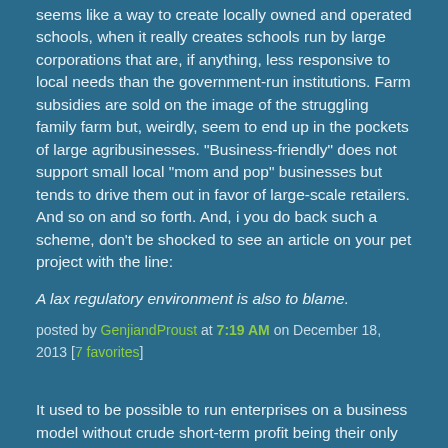seems like a way to create locally owned and operated schools, when it really creates schools run by large corporations that are, if anything, less responsive to local needs than the government-run institutions. Farm subsidies are sold on the image of the struggling family farm but, weirdly, seem to end up in the pockets of large agribusinesses. "Business-friendly" does not support small local "mom and pop" businesses but tends to drive them out in favor of large-scale retailers. And so on and so forth. And, i you do back such a scheme, don't be shocked to see an article on your pet project with the line:
A lax regulatory environment is also to blame.
posted by GenjiandProust at 7:19 AM on December 18, 2013 [7 favorites]
It used to be possible to run enterprises on a business model without crude short-term profit being their only objective,